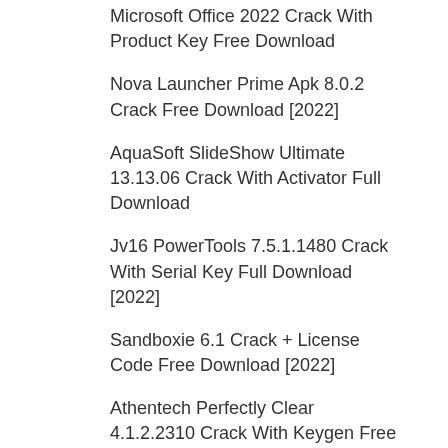Microsoft Office 2022 Crack With Product Key Free Download
Nova Launcher Prime Apk 8.0.2 Crack Free Download [2022]
AquaSoft SlideShow Ultimate 13.13.06 Crack With Activator Full Download
Jv16 PowerTools 7.5.1.1480 Crack With Serial Key Full Download [2022]
Sandboxie 6.1 Crack + License Code Free Download [2022]
Athentech Perfectly Clear 4.1.2.2310 Crack With Keygen Free Download [2022]
Categories